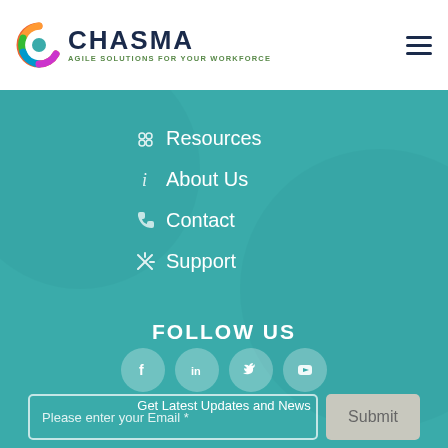[Figure (logo): Chasma logo with colorful C icon and text 'CHASMA - AGILE SOLUTIONS FOR YOUR WORKFORCE']
Resources
About Us
Contact
Support
FOLLOW US
[Figure (illustration): Social media icons: Facebook, LinkedIn, Twitter, YouTube]
Get Latest Updates and News
Please enter your Email *
Submit